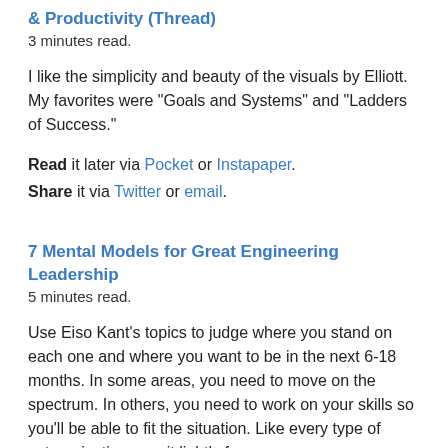& Productivity (Thread)
3 minutes read.
I like the simplicity and beauty of the visuals by Elliott. My favorites were "Goals and Systems" and "Ladders of Success."
Read it later via Pocket or Instapaper.
Share it via Twitter or email.
7 Mental Models for Great Engineering Leadership
5 minutes read.
Use Eiso Kant's topics to judge where you stand on each one and where you want to be in the next 6-18 months. In some areas, you need to move on the spectrum. In others, you need to work on your skills so you'll be able to fit the situation. Like every type of categorization, use it lightly for